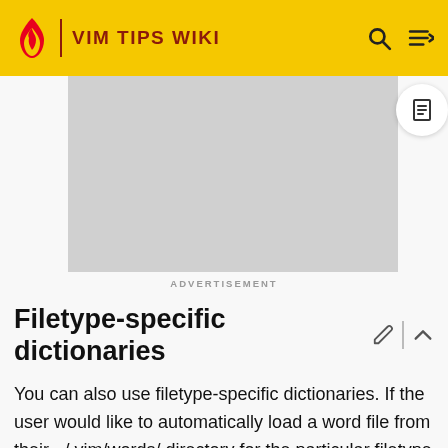VIM TIPS WIKI
[Figure (other): Advertisement placeholder box (gray rectangle)]
ADVERTISEMENT
Filetype-specific dictionaries
You can also use filetype-specific dictionaries. If the user would like to automatically load a word file from their ~/.vim/words/ directory for the particular filetype they